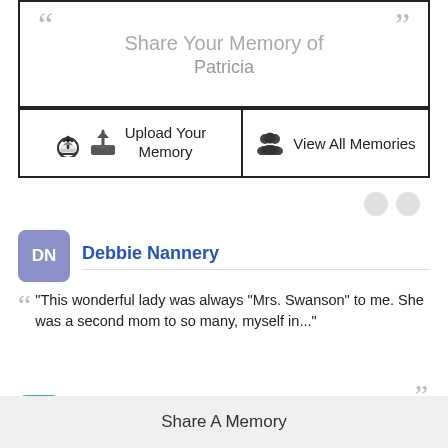Share Your Memory of Patricia
Upload Your Memory
View All Memories
Debbie Nannery
"This wonderful lady was always "Mrs. Swanson" to me. She was a second mom to so many, myself in..."
Martha Swistack
"We wish to express our sincere sympathy to Don and his children for their loss. Pat was a
Share A Memory